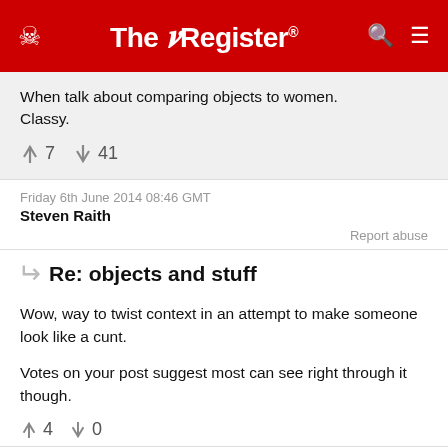The Register
When talk about comparing objects to women. Classy.
↑7  ↓41
Friday 6th June 2014 08:46 GMT
Steven Raith
Report abuse
Re: objects and stuff
Wow, way to twist context in an attempt to make someone look like a cunt.

Votes on your post suggest most can see right through it though.
↑4  ↓0
Friday 6th June 2014 12:19 GMT